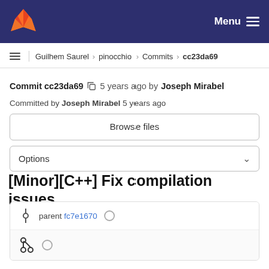GitLab navigation bar with logo and Menu
≡ | Guilhem Saurel › pinocchio › Commits › cc23da69
Commit cc23da69 🔗 5 years ago by Joseph Mirabel
Committed by Joseph Mirabel 5 years ago
Browse files
Options ⌄
[Minor][C++] Fix compilation issues
parent fc7e1670 ○
[Figure (other): Branch/diff icon with radio circle]